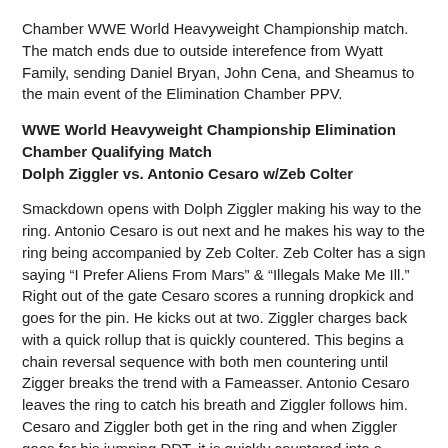Chamber WWE World Heavyweight Championship match. The match ends due to outside interefence from Wyatt Family, sending Daniel Bryan, John Cena, and Sheamus to the main event of the Elimination Chamber PPV.
WWE World Heavyweight Championship Elimination Chamber Qualifying Match
Dolph Ziggler vs. Antonio Cesaro w/Zeb Colter
Smackdown opens with Dolph Ziggler making his way to the ring. Antonio Cesaro is out next and he makes his way to the ring being accompanied by Zeb Colter. Zeb Colter has a sign saying "I Prefer Aliens From Mars" & "Illegals Make Me Ill." Right out of the gate Cesaro scores a running dropkick and goes for the pin. He kicks out at two. Ziggler charges back with a quick rollup that is quickly countered. This begins a chain reversal sequence with both men countering until Zigger breaks the trend with a Fameasser. Antonio Cesaro leaves the ring to catch his breath and Ziggler follows him. Cesaro and Ziggler both get in the ring and when Ziggler goes for his jumping DDT, it is quickly countered into a powerslam from Cesaro. Cesaro controls